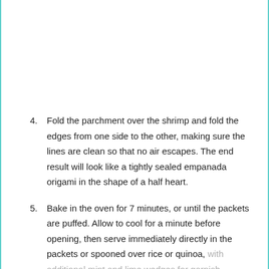4. Fold the parchment over the shrimp and fold the edges from one side to the other, making sure the lines are clean so that no air escapes. The end result will look like a tightly sealed empanada origami in the shape of a half heart.
5. Bake in the oven for 7 minutes, or until the packets are puffed. Allow to cool for a minute before opening, then serve immediately directly in the packets or spooned over rice or quinoa, with additional mint and lime wedges for garnish.